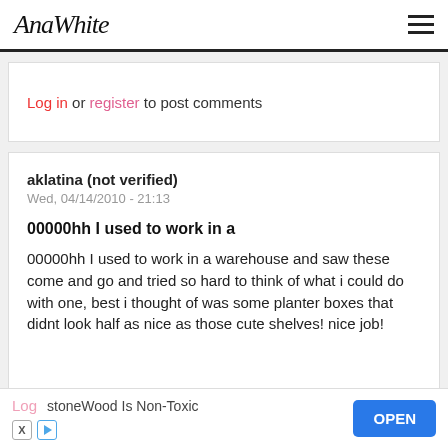Ana White
Log in or register to post comments
aklatina (not verified)
Wed, 04/14/2010 - 21:13
00000hh I used to work in a
00000hh I used to work in a warehouse and saw these come and go and tried so hard to think of what i could do with one, best i thought of was some planter boxes that didnt look half as nice as those cute shelves! nice job!
Log
stoneWood Is Non-Toxic
OPEN